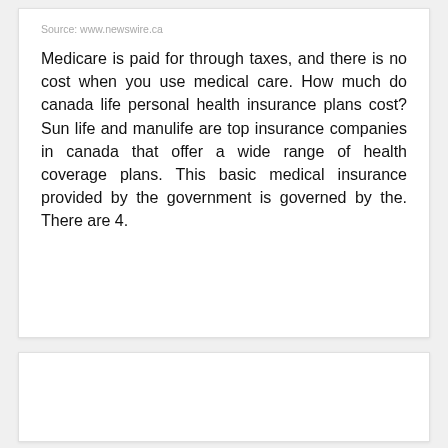Source: www.newswire.ca
Medicare is paid for through taxes, and there is no cost when you use medical care. How much do canada life personal health insurance plans cost? Sun life and manulife are top insurance companies in canada that offer a wide range of health coverage plans. This basic medical insurance provided by the government is governed by the. There are 4.